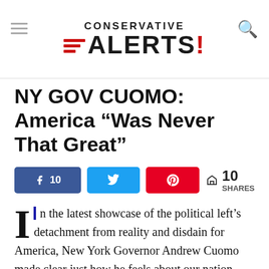Conservative Alerts!
NY GOV CUOMO: America “Was Never That Great”
10 SHARES (social share buttons: Facebook 10, Twitter, Pinterest)
In the latest showcase of the political left’s detachment from reality and disdain for America, New York Governor Andrew Cuomo made clear just how he feels about our nation, saying America “was never that great.” During his New York City speech criticizing Trump, Cuomo said, “We’re not going to